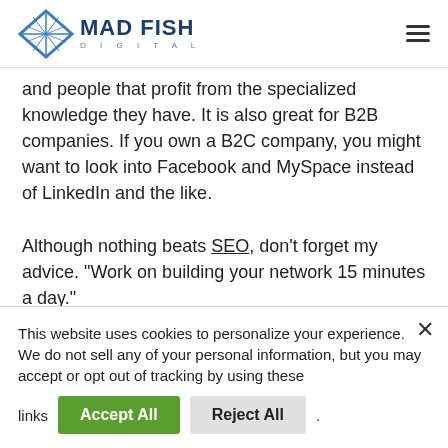Mad Fish Digital
and people that profit from the specialized knowledge they have. It is also great for B2B companies. If you own a B2C company, you might want to look into Facebook and MySpace instead of LinkedIn and the like. Although nothing beats SEO, don't forget my advice. “Work on building your network 15 minutes a day.”
This website uses cookies to personalize your experience.
We do not sell any of your personal information, but you may accept or opt out of tracking by using these links
Accept All
Reject All